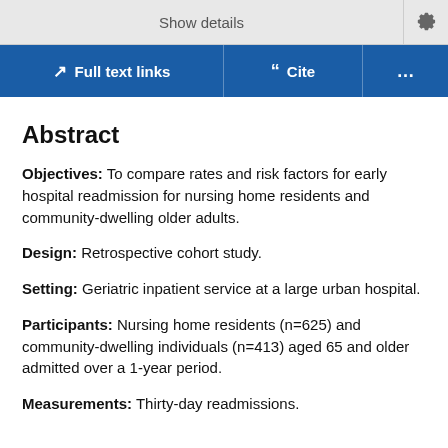Show details
Abstract
Objectives: To compare rates and risk factors for early hospital readmission for nursing home residents and community-dwelling older adults.
Design: Retrospective cohort study.
Setting: Geriatric inpatient service at a large urban hospital.
Participants: Nursing home residents (n=625) and community-dwelling individuals (n=413) aged 65 and older admitted over a 1-year period.
Measurements: Thirty-day readmissions.